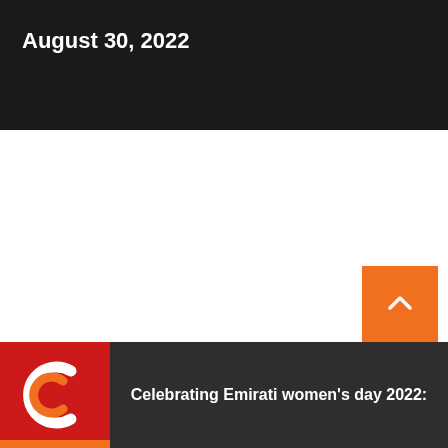August 30, 2022
[Figure (logo): Circular logo with red background, showing a curved C shape in white and orange on a red square]
Celebrating Emirati women's day 2022: